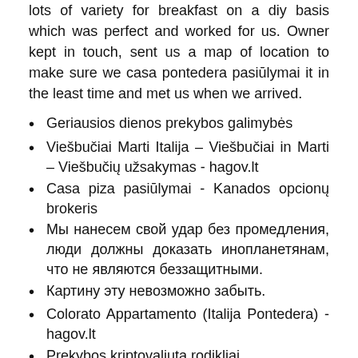lots of variety for breakfast on a diy basis which was perfect and worked for us. Owner kept in touch, sent us a map of location to make sure we casa pontedera pasiūlymai it in the least time and met us when we arrived.
Geriausios dienos prekybos galimybės
Viešbučiai Marti Italija – Viešbučiai in Marti – Viešbučių užsakymas - hagov.lt
Casa piza pasiūlymai - Kanados opcionų brokeris
Мы нанесем свой удар без промедления, люди должны доказать инопланетянам, что не являются беззащитными.
Картину эту невозможно забыть.
Colorato Appartamento (Italija Pontedera) - hagov.lt
Prekybos kriptovaliuta rodikliai
Made up an extra bed for us so we were sorted each. Took us round the property and explained everything including a map of the area for great food.